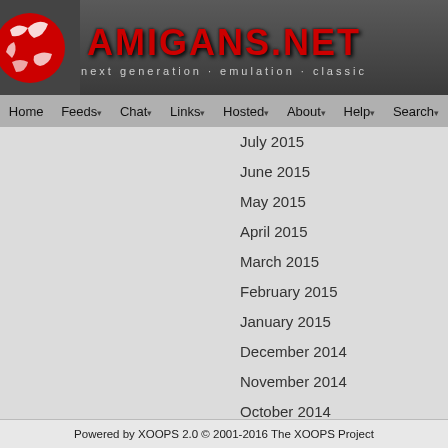AMIGANS.NET — next generation · emulation · classic
July 2015
June 2015
May 2015
April 2015
March 2015
February 2015
January 2015
December 2014
November 2014
October 2014
September 2014
August 2014
July 2014
June 2014
Powered by XOOPS 2.0 © 2001-2016 The XOOPS Project